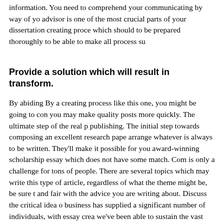information. You need to comprehend your communicating by way of your advisor is one of the most crucial parts of your dissertation creating process which should to be prepared thoroughly to be able to make all process su
Provide a solution which will result in transform.
By abiding By a creating process like this one, you might be going to con you may make quality posts more quickly. The ultimate step of the real p publishing. The initial step towards composing an excellent research pape arrange whatever is always to be written. They'll make it possible for you award-winning scholarship essay which does not have some match. Com is only a challenge for tons of people. There are several topics which may write this type of article, regardless of what the theme might be, be sure t and fair with the advice you are writing about. Discuss the critical idea o business has supplied a significant number of individuals, with essay crea we've been able to sustain the vast majority of our customers. Authors sh each supporting notion comprises enough data in the likeness of example details, and amounts to absolutely advise subscribers about the theme as standing.